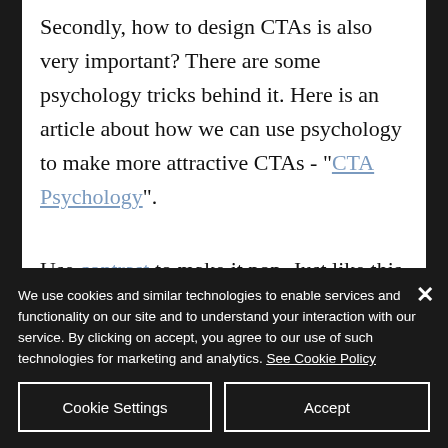Secondly, how to design CTAs is also very important? There are some psychology tricks behind it. Here is an article about how we can use psychology to make more attractive CTAs - "CTA Psychology".
Use contrast to make it pop. Just like this, simply using a different color to
We use cookies and similar technologies to enable services and functionality on our site and to understand your interaction with our service. By clicking on accept, you agree to our use of such technologies for marketing and analytics. See Cookie Policy